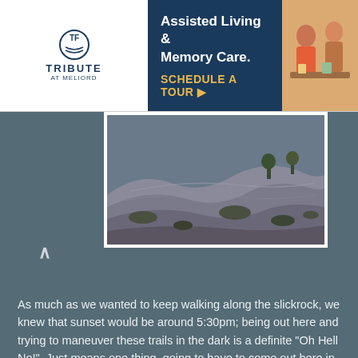[Figure (photo): Advertisement banner for Tribute at Meliord assisted living and memory care facility, with logo on left, blue background with text in center, and photo of elderly people on right. Text reads 'Assisted Living & Memory Care. SCHEDULE A TOUR ▶']
[Figure (photo): Photograph of slickrock terrain with layered sandstone formations, desert shrubs, and rocky landscape in muted blue-grey tones suggesting dusk or overcast lighting.]
As much as we wanted to keep walking along the slickrock, we knew that sunset would be around 5:30pm; being out here and trying to maneuver these trails in the dark is a definite "Oh Hell No!".  Just means one thing, going to have to come out here in the early morning and spend as much of the day as possible before needing to head back to Route 191.  Not a problem!
Well, that's the saga of another road with no name; well, no